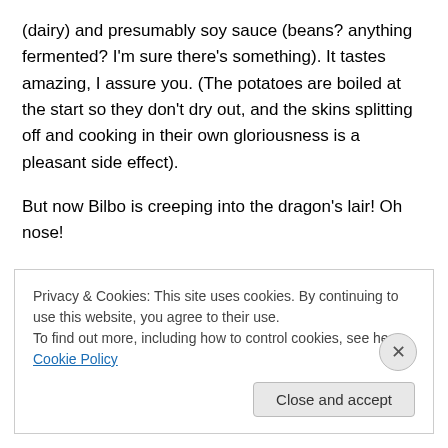(dairy) and presumably soy sauce (beans? anything fermented? I'm sure there's something). It tastes amazing, I assure you. (The potatoes are boiled at the start so they don't dry out, and the skins splitting off and cooking in their own gloriousness is a pleasant side effect).
But now Bilbo is creeping into the dragon's lair! Oh nose!
Oh, this is a GOOD scene. The clink and clatter of coins. . .
HELLO Bossy-boots Crankypants! Always nice to see you
Privacy & Cookies: This site uses cookies. By continuing to use this website, you agree to their use.
To find out more, including how to control cookies, see here: Cookie Policy
Close and accept